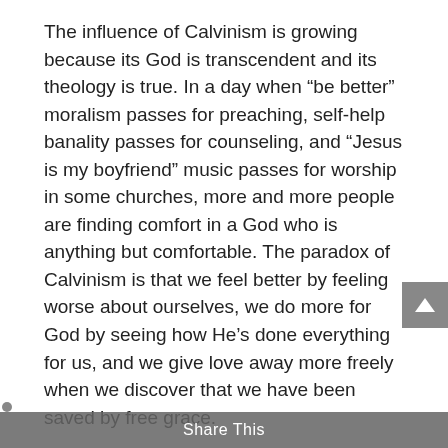The influence of Calvinism is growing because its God is transcendent and its theology is true. In a day when “be better” moralism passes for preaching, self-help banality passes for counseling, and “Jesus is my boyfriend” music passes for worship in some churches, more and more people are finding comfort in a God who is anything but comfortable. The paradox of Calvinism is that we feel better by feeling worse about ourselves, we do more for God by seeing how He’s done everything for us, and we give love away more freely when we discover that we have been saved by free grace.
I’d like to think that we are Calvinists because of what we see in the Bible. We see a God who is holy, independent, and unlike us. We glory in God’s goodness, that He should save miserable offenders, bent toward evil in all our faculties, objects of His just wrath. We rejoice in God’s electing love, which He purposed for us before the ages began. We are grateful for God’s power by which He caused us, without our permission, to be born again and enabled us to believe His promises. We take comfort in